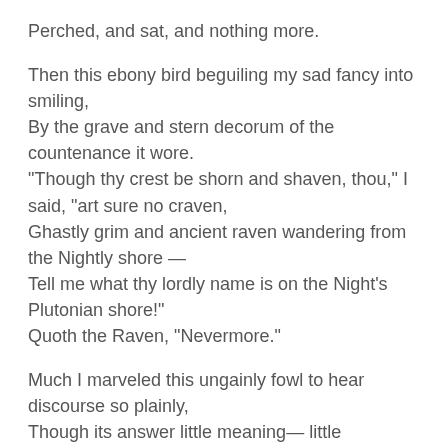Perched, and sat, and nothing more.
Then this ebony bird beguiling my sad fancy into smiling,
By the grave and stern decorum of the countenance it wore.
"Though thy crest be shorn and shaven, thou," I said, "art sure no craven,
Ghastly grim and ancient raven wandering from the Nightly shore —
Tell me what thy lordly name is on the Night's Plutonian shore!"
Quoth the Raven, "Nevermore."
Much I marveled this ungainly fowl to hear discourse so plainly,
Though its answer little meaning— little relevancy bore;
For we cannot help agreeing that no living human being
Ever yet was blest with seeing bird above his chamber door —
Bird or beast upon the sculptured bust above his chamber door,
With such name as "Nevermore."